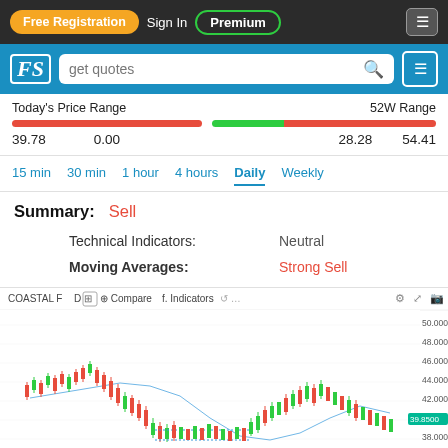Free Registration  Sign In  Premium
get quotes
Today's Price Range   52W Range   39.78   0.00   28.28   54.41
15 min   30 min   1 hour   4 hours   Daily   Weekly
Summary: Sell
Technical Indicators:   Neutral
Moving Averages:   Strong Sell
[Figure (continuous-plot): Candlestick stock chart for CCB 1D NASDAQ showing price action from approximately 38 to 50 with downtrend then partial recovery. Price labels on right: 50.0000, 48.0000, 46.0000, 44.0000, 42.0000, 40.0000, 38.0000. Overlay indicators: Volume, EMA 50 close 0, EMA. Chart toolbar shows: COASTAL F, D, Compare, Indicators buttons.]